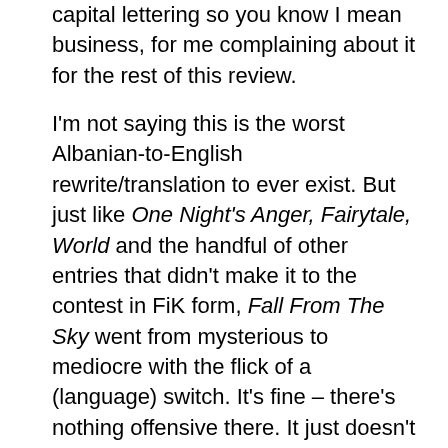capital lettering so you know I mean business, for me complaining about it for the rest of this review.

I'm not saying this is the worst Albanian-to-English rewrite/translation to ever exist. But just like One Night's Anger, Fairytale, World and the handful of other entries that didn't make it to the contest in FiK form, Fall From The Sky went from mysterious to mediocre with the flick of a (language) switch. It's fine – there's nothing offensive there. It just doesn't have the same power anymore. I'll never understand why Albania opts for English versions that lose most of their original spirit during the makeover process. Their only top 5 result has Albanian to thank, FFS! This whole thing had a strong authenticity once upon a time, right down to the styling which saw Arilena dressed in a sprayed-on black catsuit. I think that outfit reflected the song's mood much better than all the white in the revamp's music video – it's